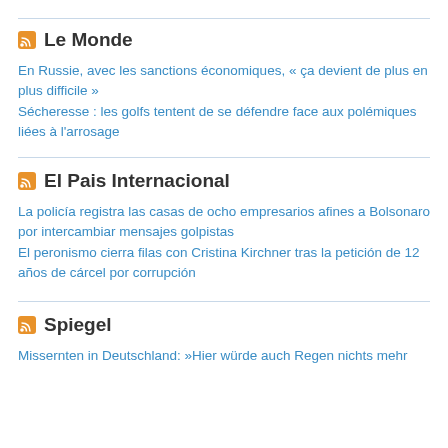Le Monde
En Russie, avec les sanctions économiques, « ça devient de plus en plus difficile »
Sécheresse : les golfs tentent de se défendre face aux polémiques liées à l'arrosage
El Pais Internacional
La policía registra las casas de ocho empresarios afines a Bolsonaro por intercambiar mensajes golpistas
El peronismo cierra filas con Cristina Kirchner tras la petición de 12 años de cárcel por corrupción
Spiegel
Missernten in Deutschland: »Hier würde auch Regen nichts mehr